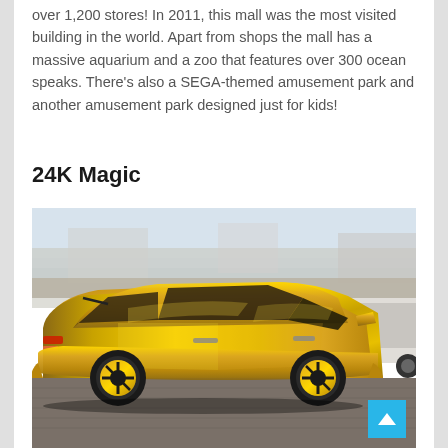over 1,200 stores! In 2011, this mall was the most visited building in the world. Apart from shops the mall has a massive aquarium and a zoo that features over 300 ocean speaks. There's also a SEGA-themed amusement park and another amusement park designed just for kids!
24K Magic
[Figure (photo): A gold chrome-wrapped SUV (appears to be a Jeep Grand Cherokee) photographed from the rear-left angle, parked on a brick-paved surface. Other vehicles and urban buildings are visible in the background. The vehicle has a highly reflective gold mirror finish covering the entire body.]